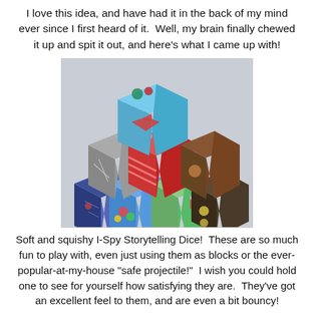I love this idea, and have had it in the back of my mind ever since I first heard of it.  Well, my brain finally chewed it up and spit it out, and here's what I came up with!
[Figure (photo): Photo of colorful fabric I-Spy storytelling dice stacked in a pyramid arrangement on a white surface. The cubes are covered in various patterned fabrics featuring animals, vehicles, food, and other I-Spy images.]
Soft and squishy I-Spy Storytelling Dice!  These are so much fun to play with, even just using them as blocks or the ever-popular-at-my-house "safe projectile!"  I wish you could hold one to see for yourself how satisfying they are.  They've got an excellent feel to them, and are even a bit bouncy!
The secret ingredient is high density foam, which you can purchase at JoAnn's.  If you are familiar with this stuff, you